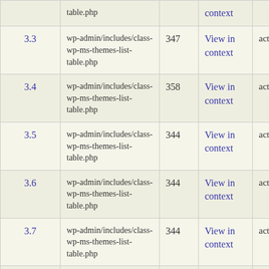| Version | File | Line | View | Action |
| --- | --- | --- | --- | --- |
|  | wp-admin/includes/class-wp-ms-themes-list-table.php |  | context |  |
| 3.3 | wp-admin/includes/class-wp-ms-themes-list-table.php | 347 | View in context | action |
| 3.4 | wp-admin/includes/class-wp-ms-themes-list-table.php | 358 | View in context | action |
| 3.5 | wp-admin/includes/class-wp-ms-themes-list-table.php | 344 | View in context | action |
| 3.6 | wp-admin/includes/class-wp-ms-themes-list-table.php | 344 | View in context | action |
| 3.7 | wp-admin/includes/class-wp-ms-themes-list-table.php | 344 | View in context | action |
| 3.8 | wp-admin/includes/class-wp-ms-themes-list-table.php | 344 | View in context | action |